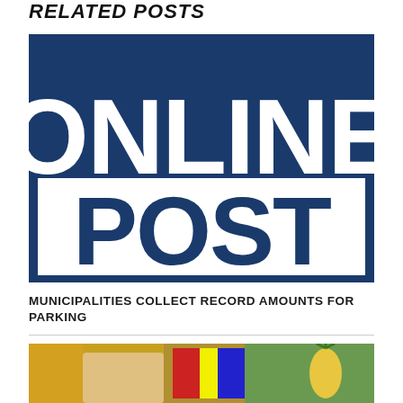RELATED POSTS
[Figure (logo): Online Post logo — large bold white text 'ONLINE' on dark navy blue background, below a white box with dark navy bold text 'POST' with a border]
MUNICIPALITIES COLLECT RECORD AMOUNTS FOR PARKING
[Figure (photo): Partial photo of a person at bottom of page, colorful background]